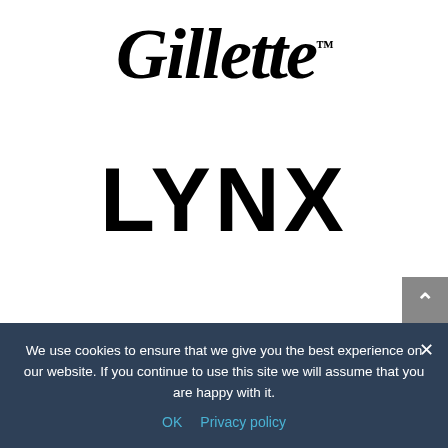[Figure (logo): Gillette brand logo in bold italic serif font with trademark symbol]
[Figure (logo): LYNX brand logo in bold sans-serif uppercase letters]
[Figure (other): Partially visible circular product image at bottom of white area]
We use cookies to ensure that we give you the best experience on our website. If you continue to use this site we will assume that you are happy with it.
OK   Privacy policy